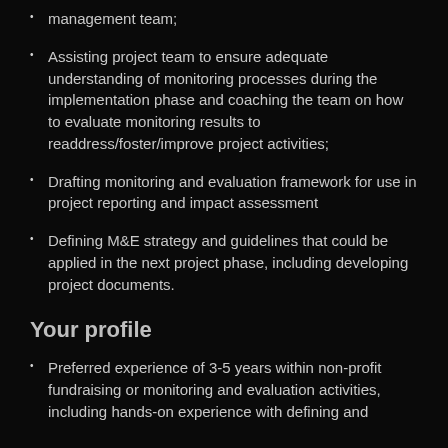management team;
Assisting project team to ensure adequate understanding of monitoring processes during the implementation phase and coaching the team on how to evaluate monitoring results to readdress/foster/improve project activities;
Drafting monitoring and evaluation framework for use in project reporting and impact assessment
Defining M&E strategy and guidelines that could be applied in the next project phase, including developing project documents.
Your profile
Preferred experience of 3-5 years within non-profit fundraising or monitoring and evaluation activities, including hands-on experience with defining and...